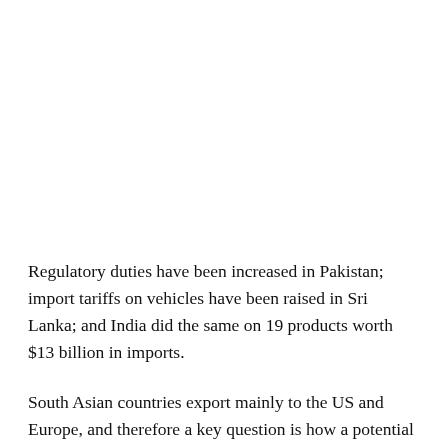Regulatory duties have been increased in Pakistan; import tariffs on vehicles have been raised in Sri Lanka; and India did the same on 19 products worth $13 billion in imports.
South Asian countries export mainly to the US and Europe, and therefore a key question is how a potential ‘trade war’ may affect import demand in these two markets. Current projections suggest